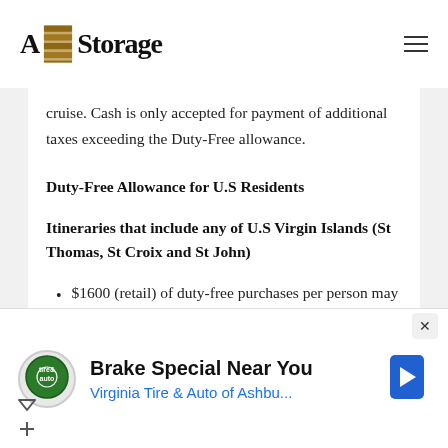A Storage
cruise. Cash is only accepted for payment of additional taxes exceeding the Duty-Free allowance.
Duty-Free Allowance for U.S Residents
Itineraries that include any of U.S Virgin Islands (St Thomas, St Croix and St John)
$1600 (retail) of duty-free purchases per person may be spent. No more than $800 can be purchased outside the U.S Virgin Islands and so on.
[Figure (other): Advertisement banner: Brake Special Near You - Virginia Tire & Auto of Ashbu... with tire & auto logo and navigation icon]